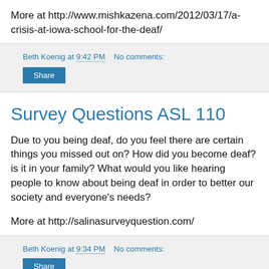More at http://www.mishkazena.com/2012/03/17/a-crisis-at-iowa-school-for-the-deaf/
Beth Koenig at 9:42 PM   No comments:
Share
Survey Questions ASL 110
Due to you being deaf, do you feel there are certain things you missed out on? How did you become deaf? is it in your family? What would you like hearing people to know about being deaf in order to better our society and everyone's needs?
More at http://salinasurveyquestion.com/
Beth Koenig at 9:34 PM   No comments:
Share